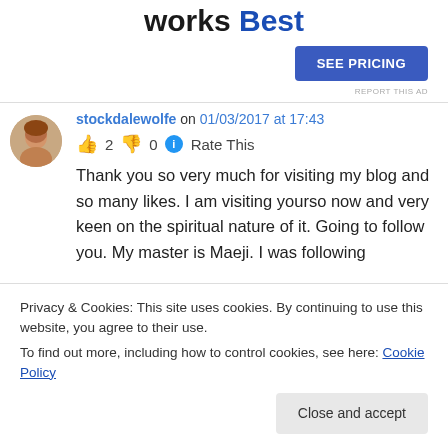Works Best
SEE PRICING
REPORT THIS AD
stockdalewolfe on 01/03/2017 at 17:43
👍 2 👎 0 ℹ Rate This
Thank you so very much for visiting my blog and so many likes. I am visiting yourso now and very keen on the spiritual nature of it. Going to follow you. My master is Maeji. I was following
Privacy & Cookies: This site uses cookies. By continuing to use this website, you agree to their use.
To find out more, including how to control cookies, see here: Cookie Policy
Close and accept